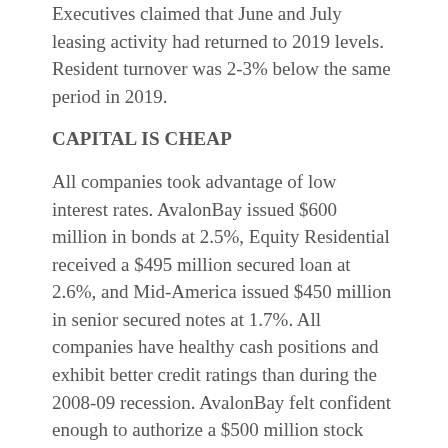Executives claimed that June and July leasing activity had returned to 2019 levels. Resident turnover was 2-3% below the same period in 2019.
CAPITAL IS CHEAP
All companies took advantage of low interest rates. AvalonBay issued $600 million in bonds at 2.5%, Equity Residential received a $495 million secured loan at 2.6%, and Mid-America issued $450 million in senior secured notes at 1.7%. All companies have healthy cash positions and exhibit better credit ratings than during the 2008-09 recession. AvalonBay felt confident enough to authorize a $500 million stock buyback program. Low rates were not entirely a favorable factor: AvalonBay and Mid-America each noted that occupancy was hindered by home purchases driven by low interest rates. This trend has also been evident in our market.